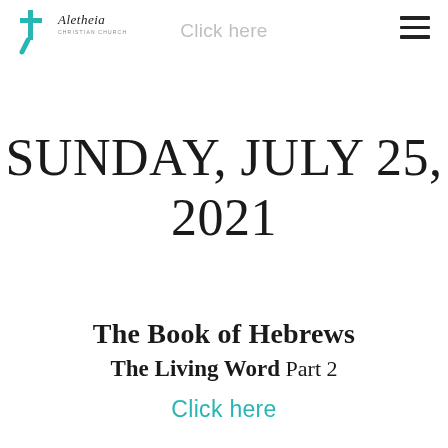[Figure (logo): Aletheia Christian Church cross and text logo in top left corner]
Click here
SUNDAY, JULY 25, 2021
The Book of Hebrews
The Living Word Part 2
Click here